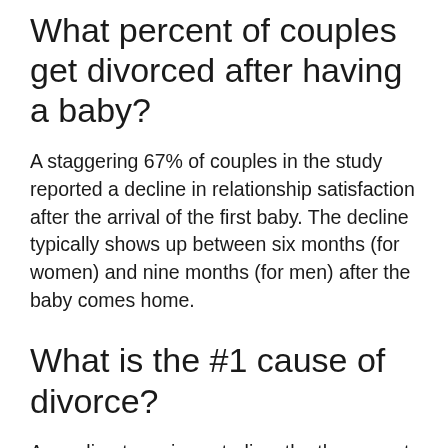What percent of couples get divorced after having a baby?
A staggering 67% of couples in the study reported a decline in relationship satisfaction after the arrival of the first baby. The decline typically shows up between six months (for women) and nine months (for men) after the baby comes home.
What is the #1 cause of divorce?
According to various studies, the three most common causes of divorce are conflict, arguing, irretrievable breakdown in the relationship, lack of commitment, infidelity,